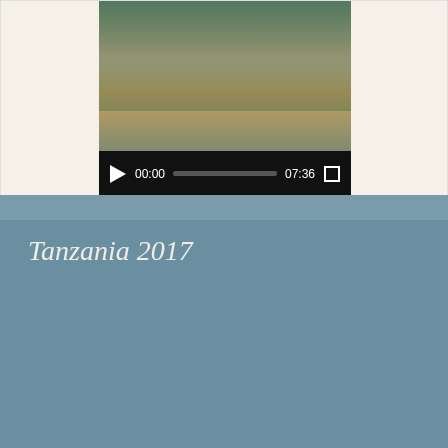[Figure (screenshot): Video player showing a partially visible video thumbnail with play controls at bottom showing time 00:00 and duration 07:36, with fullscreen button]
Tanzania 2017
[Figure (screenshot): YouTube video embed titled 'Tanzania 2017' showing three smiling African children, with YouTube play button overlay, video controls showing 00:00 and duration 05:10]